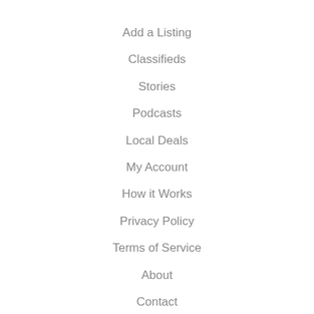Add a Listing
Classifieds
Stories
Podcasts
Local Deals
My Account
How it Works
Privacy Policy
Terms of Service
About
Contact